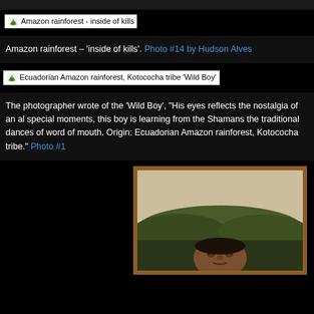Amazon rainforest - inside of kills
Amazon rainforest – 'inside of kills'. Photo #14 by Hudson Alves
Ecuadorian Amazon rainforest, Kotococha tribe 'Wild Boy'
The photographer wrote of the 'Wild Boy', "His eyes reflects the nostalgia of an al special moments, this boy is learning from the Shamans the traditional dances of word of mouth. Origin: Ecuadorian Amazon rainforest, Kotococha tribe." Photo #1
[Figure (photo): Framed photograph of a person from the Ecuadorian Amazon rainforest, Kotococha tribe, partially visible against a landscape background with vegetation. The photo has a brown/golden frame border.]